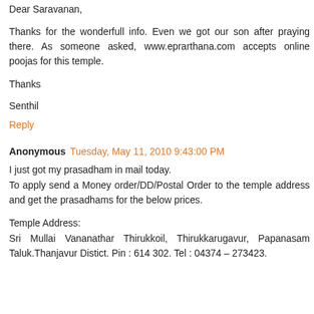Dear Saravanan,
Thanks for the wonderfull info. Even we got our son after praying there. As someone asked, www.eprarthana.com accepts online poojas for this temple.
Thanks
Senthil
Reply
Anonymous  Tuesday, May 11, 2010 9:43:00 PM
I just got my prasadham in mail today.
To apply send a Money order/DD/Postal Order to the temple address and get the prasadhams for the below prices.
Temple Address:
Sri Mullai Vananathar Thirukkoil, Thirukkarugavur, Papanasam Taluk.Thanjavur Distict. Pin : 614 302. Tel : 04374 – 273423.